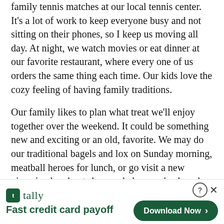family tennis matches at our local tennis center. It's a lot of work to keep everyone busy and not sitting on their phones, so I keep us moving all day. At night, we watch movies or eat dinner at our favorite restaurant, where every one of us orders the same thing each time. Our kids love the cozy feeling of having family traditions.
Our family likes to plan what treat we'll enjoy together over the weekend. It could be something new and exciting or an old, favorite. We may do our traditional bagels and lox on Sunday morning, meatball heroes for lunch, or go visit a new pizzeria, doughnut shop, or bakery we've heard about. It is a fun focus for us and our kids
[Figure (other): Tally app advertisement banner: 'tally - Fast credit card payoff' with a green 'Download Now' button and close/help controls.]